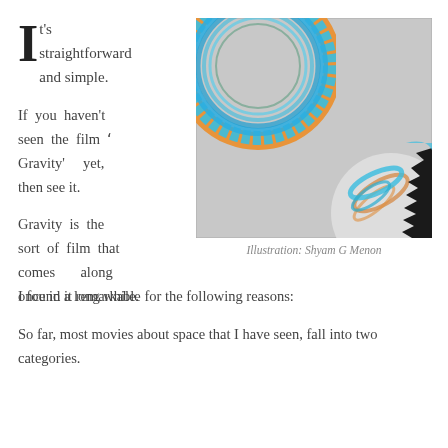It's straightforward and simple.

If you haven't seen the film 'Gravity' yet, then see it.

Gravity is the sort of film that comes along once in a long while.
[Figure (illustration): An illustration showing two circular/spherical shapes on a grey background. The upper-left shows a large blue circle with orange and green edges. The lower-right shows a partially visible sphere with blue and orange brush strokes and a dark jagged black silhouette.]
Illustration: Shyam G Menon
I found it remarkable for the following reasons:
So far, most movies about space that I have seen, fall into two categories.